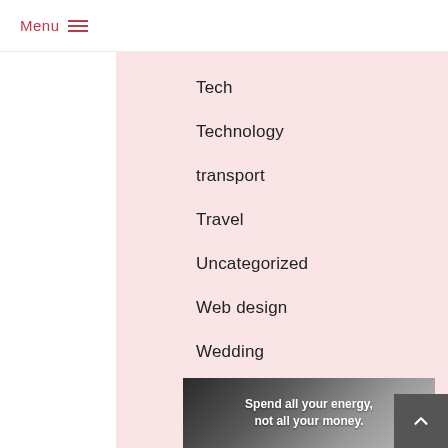Menu ☰
Tech
Technology
transport
Travel
Uncategorized
Web design
Wedding
[Figure (photo): Dark image with white bold text overlay reading 'Spend all your energy, not all your money.']